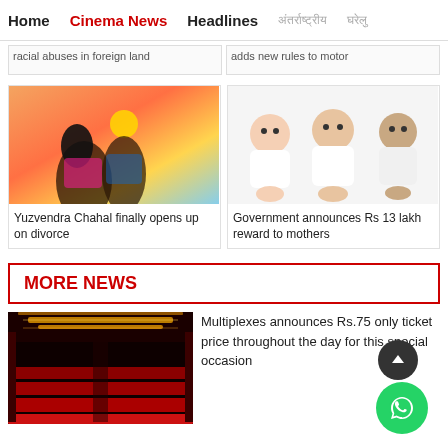Home  Cinema News  Headlines  [Hindi text]  [Hindi text]
racial abuses in foreign land
adds new rules to motor
[Figure (photo): Couple posing together at sunset - Yuzvendra Chahal and partner]
Yuzvendra Chahal finally opens up on divorce
[Figure (photo): Three babies sitting in a row wearing white onesies]
Government announces Rs 13 lakh reward to mothers
MORE NEWS
[Figure (photo): Cinema hall interior with red seats and yellow ceiling lights]
Multiplexes announces Rs.75 only ticket price throughout the day for this special occasion